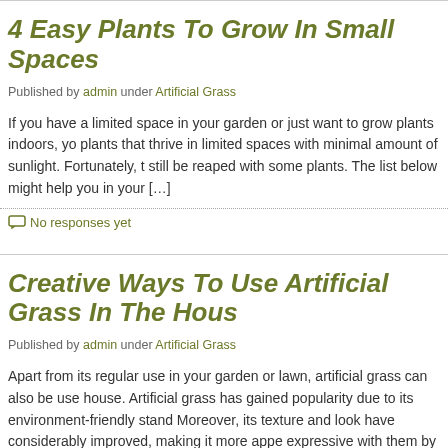4 Easy Plants To Grow In Small Spaces
Published by admin under Artificial Grass
If you have a limited space in your garden or just want to grow plants indoors, you need plants that thrive in limited spaces with minimal amount of sunlight. Fortunately, t still be reaped with some plants. The list below might help you in your […]
No responses yet
Creative Ways To Use Artificial Grass In The Hous
Published by admin under Artificial Grass
Apart from its regular use in your garden or lawn, artificial grass can also be use house. Artificial grass has gained popularity due to its environment-friendly stand Moreover, its texture and look have considerably improved, making it more appe expressive with them by […]
No responses yet